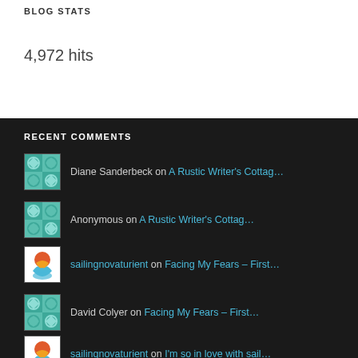BLOG STATS
4,972 hits
RECENT COMMENTS
Diane Sanderbeck on A Rustic Writer's Cottag...
Anonymous on A Rustic Writer's Cottag...
sailingnovaturient on Facing My Fears – First...
David Colyer on Facing My Fears – First...
sailingnovaturient on I'm so in love with sail...